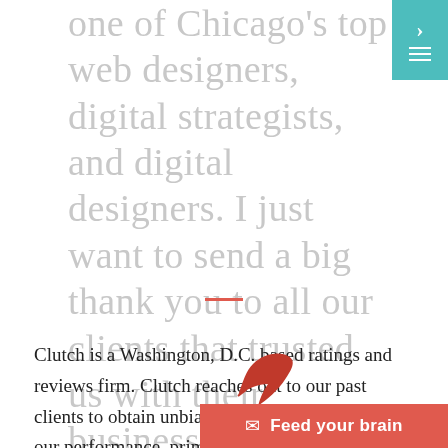one of Chicago's top web designers, digital strategists, and digital designers. I just want to send a big thank you to all our clients that trusted us with their business and shared their experience with Clutch.
[Figure (other): Teal/green navigation button with right arrow and hamburger menu lines]
[Figure (illustration): Short red/orange horizontal divider line]
Clutch is a Washington, D.C. based ratings and reviews firm. Clutch reaches out to our past clients to obtain unbiased and accurate reviews of our performance, primarily through the medium of phone calls. We are very pleased to h
[Figure (illustration): Dark bird/arrow icon overlay on bottom right of page]
[Figure (other): Red Feed your brain email subscription bar with envelope icon at bottom right]